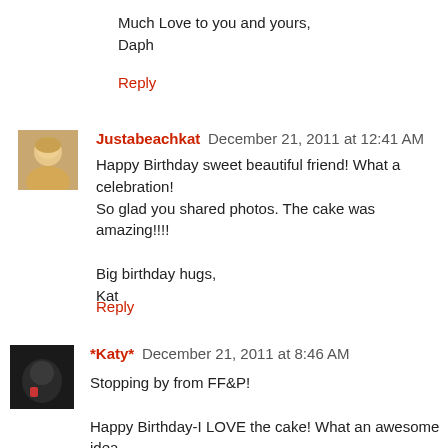Much Love to you and yours,
Daph
Reply
Justabeachkat  December 21, 2011 at 12:41 AM
Happy Birthday sweet beautiful friend! What a celebration! So glad you shared photos. The cake was amazing!!!!

Big birthday hugs,
Kat
Reply
*Katy*  December 21, 2011 at 8:46 AM
Stopping by from FF&P!

Happy Birthday-I LOVE the cake! What an awesome idea and a sweet, sweet sister :)